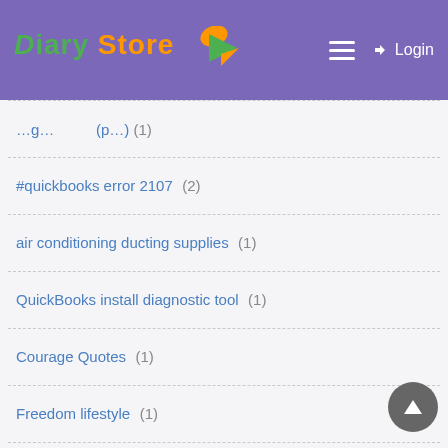Diary Store — Login
#quickbooks error 2107 (2)
air conditioning ducting supplies (1)
QuickBooks install diagnostic tool (1)
Courage Quotes (1)
Freedom lifestyle (1)
Quickbooks online support USA (1)
QuickBooks company file backup error 111 (1)
kolkata hospitals (1)
car rental companies in Dubai (1)
QuickBooks 2019 Display Issues (1)
#wechat customer support (1)
real estate investment opportunity (1)